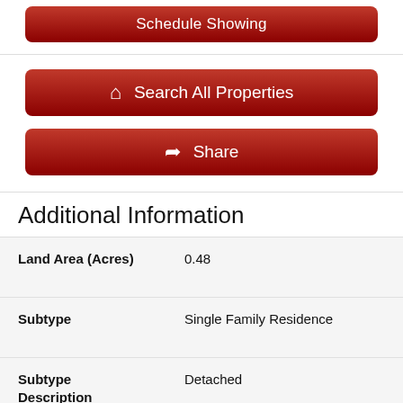[Figure (screenshot): Red 'Schedule Showing' button at top]
[Figure (screenshot): Red 'Search All Properties' button with house icon]
[Figure (screenshot): Red 'Share' button with share icon]
Additional Information
| Land Area (Acres) | 0.48 |
| Subtype | Single Family Residence |
| Subtype Description | Detached |
| Style | Farmhouse |